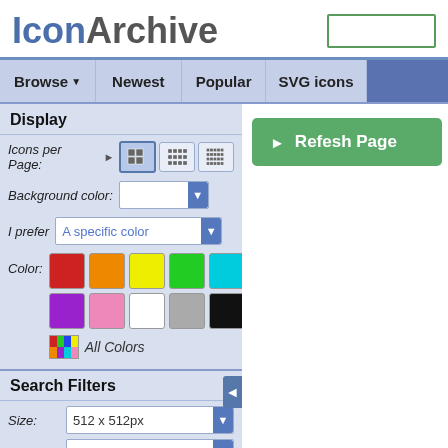[Figure (logo): IconArchive logo with blue 'Icon' and grey 'Archive' text, plus search box]
Browse ▼  Newest  Popular  SVG icons
Display
Icons per Page: [grid options]
Background color: [dropdown]
I prefer  A specific color [dropdown]
Color: [color swatches grid]
All Colors
Search Filters
Size: 512 x 512px [dropdown]
Category: System [dropdown]
e: Photorealistic [dropdown]
[Figure (screenshot): Refresh Page green button]